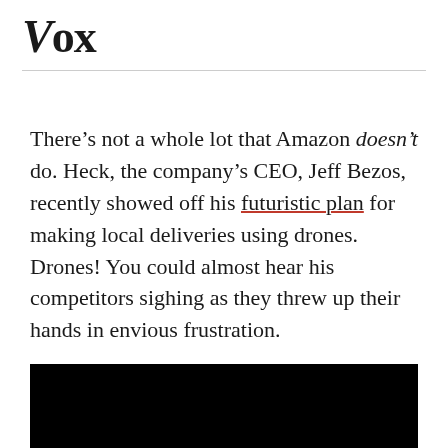Vox
There’s not a whole lot that Amazon doesn’t do. Heck, the company’s CEO, Jeff Bezos, recently showed off his futuristic plan for making local deliveries using drones. Drones! You could almost hear his competitors sighing as they threw up their hands in envious frustration.
[Figure (photo): Black rectangle representing a video or image embed]